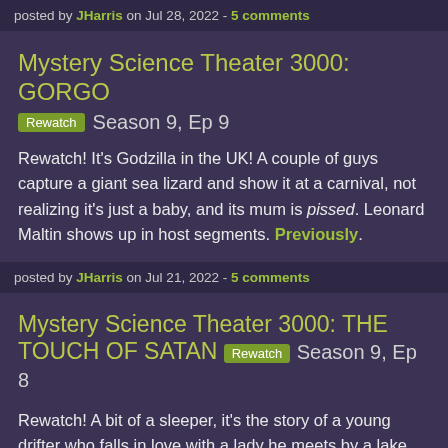posted by JHarris on Jul 28, 2022 - 5 comments
Mystery Science Theater 3000: GORGO
Rewatch  Season 9, Ep 9
Rewatch! It's Godzilla in the UK! A couple of guys capture a giant sea lizard and show it at a carnival, not realizing it's just a baby, and its mum is pissed. Leonard Maltin shows up in host segments. Previously.
posted by JHarris on Jul 21, 2022 - 5 comments
Mystery Science Theater 3000: THE TOUCH OF SATAN
Rewatch  Season 9, Ep 8
Rewatch! A bit of a sleeper, it's the story of a young drifter who falls in love with a lady he meets by a lake who tells him, "this is where the fish lives." Being kind of dim, he